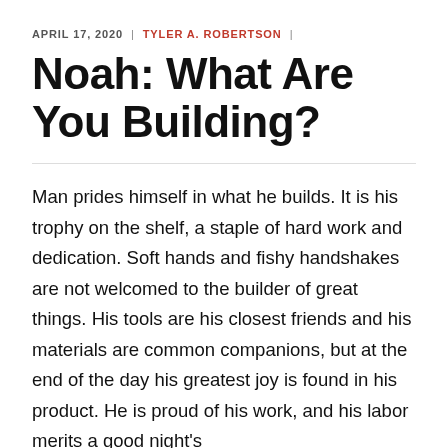APRIL 17, 2020 | TYLER A. ROBERTSON |
Noah: What Are You Building?
Man prides himself in what he builds. It is his trophy on the shelf, a staple of hard work and dedication. Soft hands and fishy handshakes are not welcomed to the builder of great things. His tools are his closest friends and his materials are common companions, but at the end of the day his greatest joy is found in his product. He is proud of his work, and his labor merits a good night's